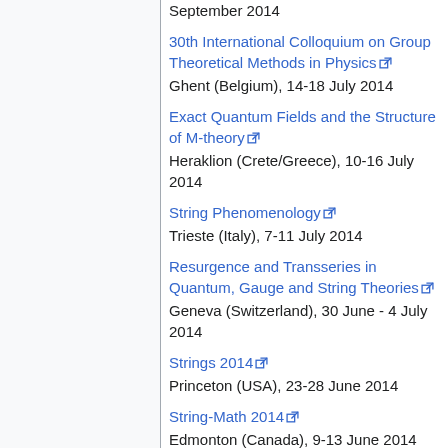September 2014
30th International Colloquium on Group Theoretical Methods in Physics
Ghent (Belgium), 14-18 July 2014
Exact Quantum Fields and the Structure of M-theory
Heraklion (Crete/Greece), 10-16 July 2014
String Phenomenology
Trieste (Italy), 7-11 July 2014
Resurgence and Transseries in Quantum, Gauge and String Theories
Geneva (Switzerland), 30 June - 4 July 2014
Strings 2014
Princeton (USA), 23-28 June 2014
String-Math 2014
Edmonton (Canada), 9-13 June 2014